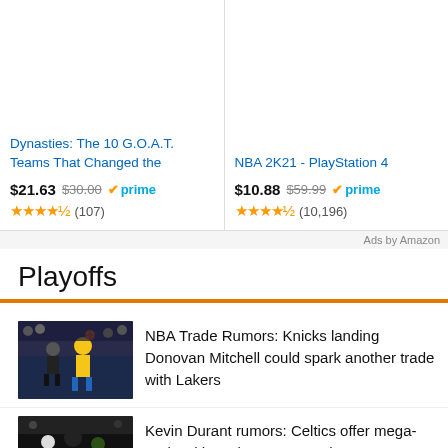[Figure (other): Amazon ad card for 'Dynasties: The 10 G.O.A.T. Teams That Changed the' at $21.63 (was $30.00), Prime eligible, 4.5 stars, 107 reviews]
[Figure (other): Amazon ad card for 'NBA 2K21 - PlayStation 4' at $10.88 (was $59.99), Prime eligible, 4.5 stars, 10,196 reviews]
Ads by Amazon
Playoffs
[Figure (photo): Basketball player in yellow jersey shooting over defender]
NBA Trade Rumors: Knicks landing Donovan Mitchell could spark another trade with Lakers
[Figure (photo): Basketball players in action during NBA game]
Kevin Durant rumors: Celtics offer mega-trade with Jaylen Brown at the center
[Figure (photo): Basketball player close-up]
NBA rumors: Lakers have 3 trade suitors for